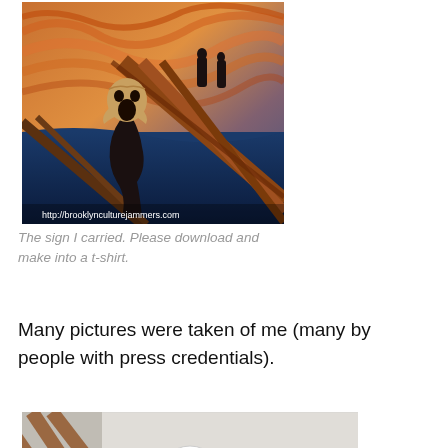[Figure (illustration): The Scream painting by Edvard Munch showing an anguished figure with mouth open in a scream on a bridge, swirling sky in orange and brown tones. URL watermark at bottom: http://brooklynculturejammers.com]
The sign I carried. Please download and make into a t-shirt.
Many pictures were taken of me (many by people with press credentials).
[Figure (photo): Person wearing a grim reaper or skull clown costume/mask with black hood, white skull face mask, red clown nose, and visible teeth, standing against a light background with a striped object visible to the left.]